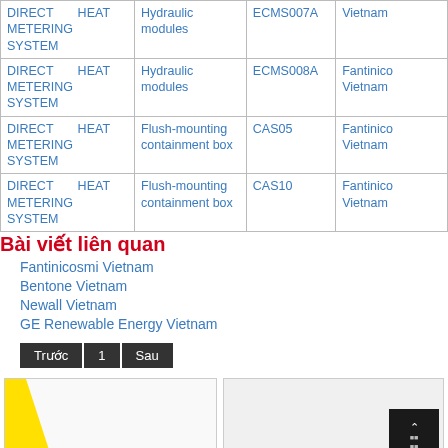| Product | Component | Model | Brand |
| --- | --- | --- | --- |
| DIRECT HEAT METERING SYSTEM | Hydraulic modules | ECMS007A | Vietnam |
| DIRECT HEAT METERING SYSTEM | Hydraulic modules | ECMS008A | Fantinico Vietnam |
| DIRECT HEAT METERING SYSTEM | Flush-mounting containment box | CAS05 | Fantinico Vietnam |
| DIRECT HEAT METERING SYSTEM | Flush-mounting containment box | CAS10 | Fantinico Vietnam |
Bài viết liên quan
Fantinicosmi Vietnam
Bentone Vietnam
Newall Vietnam
GE Renewable Energy Vietnam
Trước  1  Sau
[Figure (photo): Two preview images at the bottom of the page: left shows yellow diagonal stripes, right shows a dark box/device]
[Figure (photo): Dark device box with white text/icon]